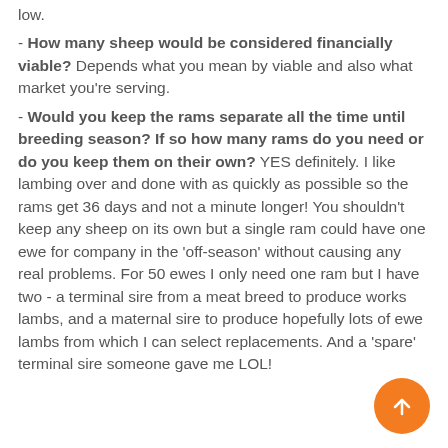low.
- How many sheep would be considered financially viable? Depends what you mean by viable and also what market you're serving.
- Would you keep the rams separate all the time until breeding season? If so how many rams do you need or do you keep them on their own? YES definitely. I like lambing over and done with as quickly as possible so the rams get 36 days and not a minute longer! You shouldn't keep any sheep on its own but a single ram could have one ewe for company in the 'off-season' without causing any real problems. For 50 ewes I only need one ram but I have two - a terminal sire from a meat breed to produce works lambs, and a maternal sire to produce hopefully lots of ewe lambs from which I can select replacements. And a 'spare' terminal sire someone gave me LOL!